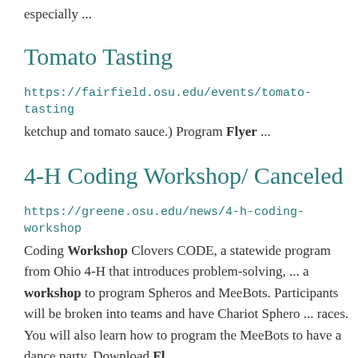especially ...
Tomato Tasting
https://fairfield.osu.edu/events/tomato-tasting
ketchup and tomato sauce.) Program Flyer ...
4-H Coding Workshop/ Canceled
https://greene.osu.edu/news/4-h-coding-workshop
Coding Workshop Clovers CODE, a statewide program from Ohio 4-H that introduces problem-solving, ... a workshop to program Spheros and MeeBots. Participants will be broken into teams and have Chariot Sphero ... races. You will also learn how to program the MeeBots to have a dance party. Download Fl